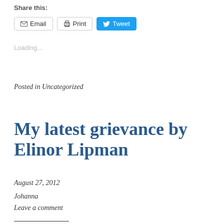Share this:
Email   Print   Tweet
Loading...
Posted in Uncategorized
My latest grievance by Elinor Lipman
August 27, 2012
Johanna
Leave a comment